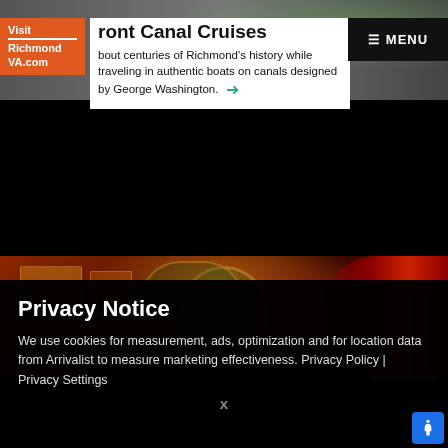[Figure (screenshot): Top portion of a travel/tourism website for Visit Richmond VA.com showing a canal cruises page with a logo, navigation menu, and decorative imagery]
Visit Richmond VA.com
ront Canal Cruises
bout centuries of Richmond's history while traveling in authentic boats on canals designed by George Washington. →
[Figure (photo): Interior of an ornate theater with red curtains, golden decorative panels, arched details, and colorful stained glass, with a close button in lower right]
Privacy Notice
We use cookies for measurement, ads, optimization and for location data from Arrivalist to measure marketing effectiveness. Privacy Policy | Privacy Settings
x